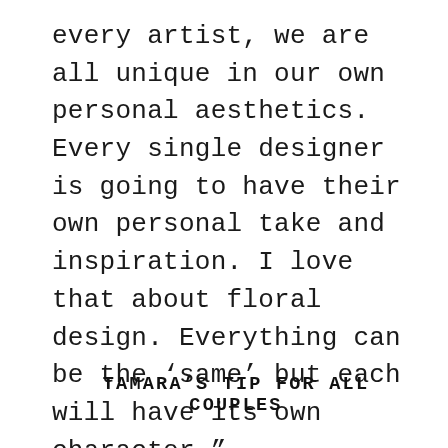every artist, we are all unique in our own personal aesthetics. Every single designer is going to have their own personal take and inspiration. I love that about floral design. Everything can be the ‘same’ but each will have its own character.”
TAMARA’S TIP FOR ALL COUPLES